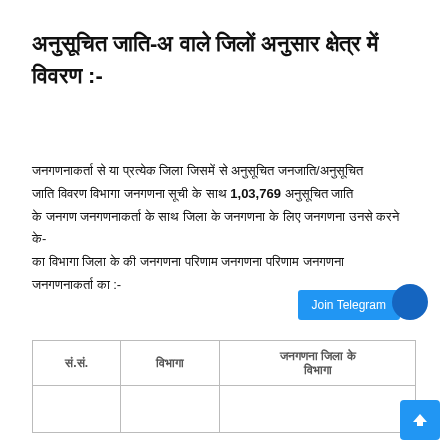अनुसूचित जाति-अ वाले जिलों अनुसार क्षेत्र में विवरण :-
जनगणनाकर्ता से या प्रत्येक जिला जिसमें से अनुसूचित जनजाति/अनुसूचित जाति विवरण विभागा जनगणना सूची के साथ 1,03,769 अनुसूचित जाति के जनगण जनगणनाकर्ता के साथ जिला के जनगणना के लिए जनगणना उनसे करने के का विभागा जिला के की जनगणना परिणाम जनगणनाकर्ता का :-
| सं.सं. | विभागा | जनगणना जिला के विभागा |
| --- | --- | --- |